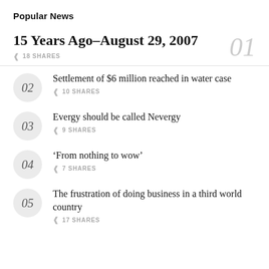Popular News
15 Years Ago–August 29, 2007
18 SHARES
Settlement of $6 million reached in water case
10 SHARES
Evergy should be called Nevergy
9 SHARES
‘From nothing to wow’
7 SHARES
The frustration of doing business in a third world country
17 SHARES